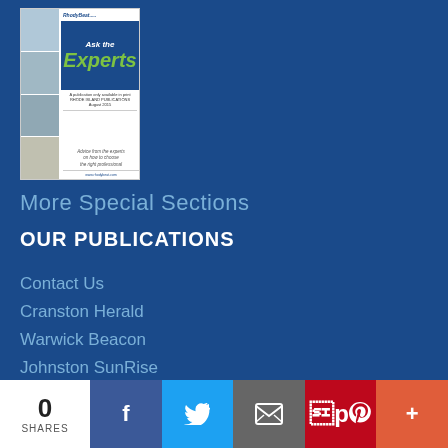[Figure (illustration): Magazine cover for 'Ask the Experts' publication by RhodyBeat, showing photos of people and text 'Advice from the experts on how to choose the right professional']
More Special Sections
OUR PUBLICATIONS
Contact Us
Cranston Herald
Warwick Beacon
Johnston SunRise
The Reminder
RhodyBeat.com
0 SHARES
[Figure (infographic): Social sharing bar with Facebook, Twitter, Email, Pinterest, and More buttons]